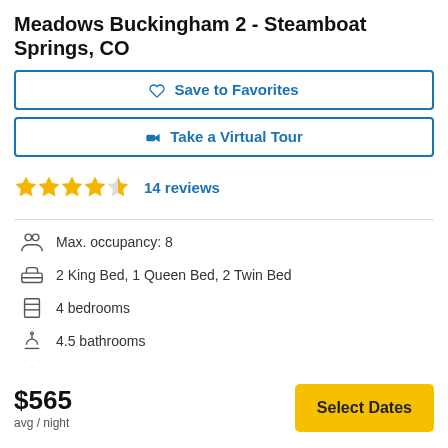Meadows Buckingham 2 - Steamboat Springs, CO
Save to Favorites
Take a Virtual Tour
4.5 stars, 14 reviews
Max. occupancy: 8
2 King Bed, 1 Queen Bed, 2 Twin Bed
4 bedrooms
4.5 bathrooms
No pets
$565 avg / night
Select Dates